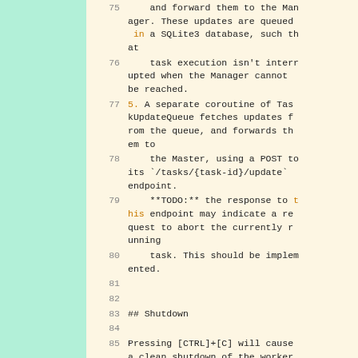75    and forward them to the Manager. These updates are queued in a SQLite3 database, such that
76    task execution isn't interrupted when the Manager cannot be reached.
77  5. A separate coroutine of TaskUpdateQueue fetches updates from the queue, and forwards them to
78    the Master, using a POST to its `/tasks/{task-id}/update` endpoint.
79    **TODO:** the response to this endpoint may indicate a request to abort the currently running
80    task. This should be implemented.
81
82
83  ## Shutdown
84
85  Pressing [CTRL]+[C] will cause a clean shutdown of the worker.
86  If there is a task currently r...